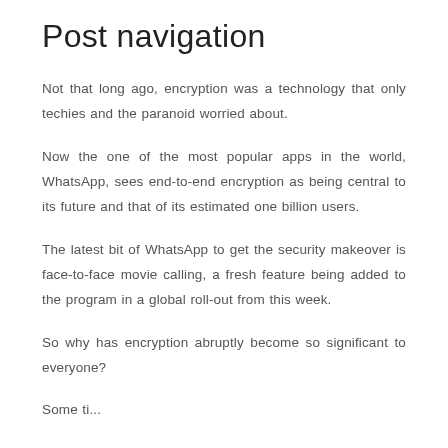Post navigation
Not that long ago, encryption was a technology that only techies and the paranoid worried about.
Now the one of the most popular apps in the world, WhatsApp, sees end-to-end encryption as being central to its future and that of its estimated one billion users.
The latest bit of WhatsApp to get the security makeover is face-to-face movie calling, a fresh feature being added to the program in a global roll-out from this week.
So why has encryption abruptly become so significant to everyone?
Some text is cut off at the bottom of the page.